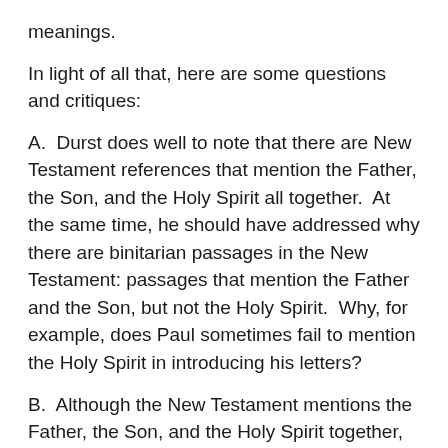meanings.
In light of all that, here are some questions and critiques:
A.  Durst does well to note that there are New Testament references that mention the Father, the Son, and the Holy Spirit all together.  At the same time, he should have addressed why there are binitarian passages in the New Testament: passages that mention the Father and the Son, but not the Holy Spirit.  Why, for example, does Paul sometimes fail to mention the Holy Spirit in introducing his letters?
B.  Although the New Testament mentions the Father, the Son, and the Holy Spirit together, does that mean that it always assumes a Nicene view of the Trinity in those cases—a Christology in which Jesus was God before he